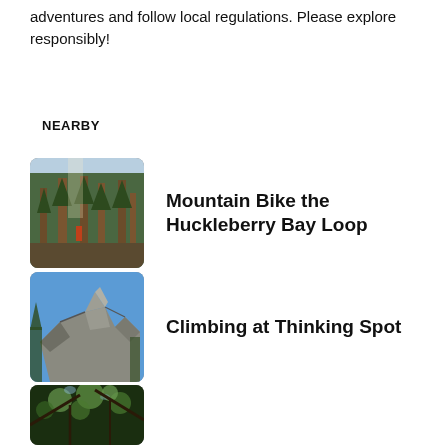adventures and follow local regulations. Please explore responsibly!
NEARBY
[Figure (photo): Forest scene with tall conifer trees and sunlight filtering through]
Mountain Bike the Huckleberry Bay Loop
[Figure (photo): Rocky granite outcropping against blue sky with trees]
Climbing at Thinking Spot
[Figure (photo): Dense green tree canopy viewed from below]